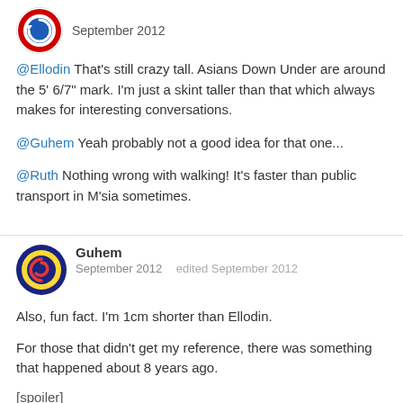[Figure (other): User avatar icon - circular with blue and red design]
September 2012
@Ellodin That's still crazy tall. Asians Down Under are around the 5' 6/7" mark. I'm just a skint taller than that which always makes for interesting conversations.
@Guhem Yeah probably not a good idea for that one...
@Ruth Nothing wrong with walking! It's faster than public transport in M'sia sometimes.
[Figure (other): User avatar icon - circular with yellow background and red symbol on dark blue ring]
Guhem
September 2012   edited September 2012
Also, fun fact. I'm 1cm shorter than Ellodin.
For those that didn't get my reference, there was something that happened about 8 years ago.
[spoiler]
Massive manhunt on Pulau Tekong for 3 armed robbers